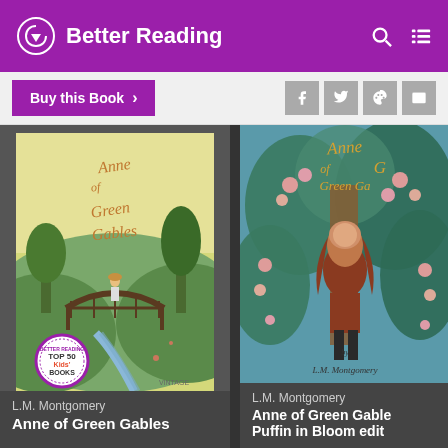Better Reading
Buy this Book >
[Figure (screenshot): Anne of Green Gables book cover (Vintage edition) with illustration of a girl on a bridge in a pastoral scene, with a 'Top 50 Kids Books' badge]
L.M. Montgomery
Anne of Green Gables
[Figure (screenshot): Anne of Green Gables book cover (Puffin in Bloom edition) with illustration of a girl with long red hair surrounded by flowers and foliage]
L.M. Montgomery
Anne of Green Gables Puffin in Bloom edit